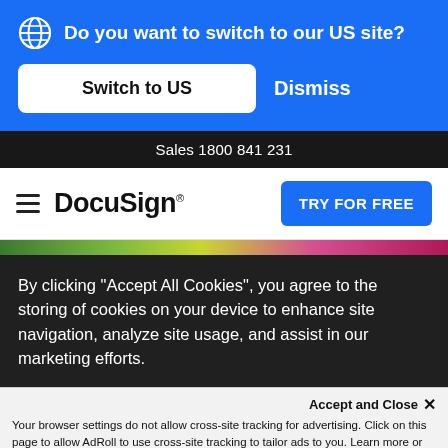Do you want to switch to our US site?
Switch to US
Dismiss
Sales 1800 841 231
[Figure (logo): DocuSign logo with hamburger menu icon]
TRY FOR FREE
By clicking “Accept All Cookies”, you agree to the storing of cookies on your device to enhance site navigation, analyze site usage, and assist in our marketing efforts.
Accept and Close ×
Your browser settings do not allow cross-site tracking for advertising. Click on this page to allow AdRoll to use cross-site tracking to tailor ads to you. Learn more or opt out of this AdRoll tracking by clicking here. This message only appears once.